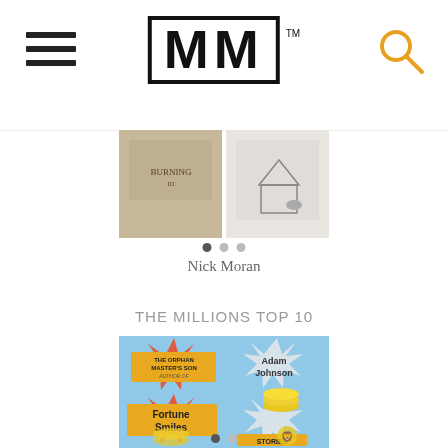[Figure (logo): The Millions website logo — MM in bold black letters inside a border box, with TM superscript]
[Figure (photo): Carousel of book cover images, partially visible]
Nick Moran
THE MILLIONS TOP 10
[Figure (photo): Book cover for 'Fortune Smiles: Stories' by Adam Johnson — The Orphan Master's Son author. Bright blue background with comic-style star bursts, gold coins, and a lion illustration.]